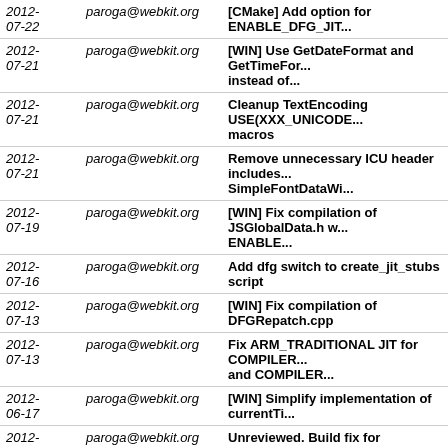| Date | Author | Message |
| --- | --- | --- |
| 2012-07-22 | paroga@webkit.org | [CMake] Add option for ENABLE_DFG_JIT... |
| 2012-07-21 | paroga@webkit.org | [WIN] Use GetDateFormat and GetTimeFor... instead of... |
| 2012-07-21 | paroga@webkit.org | Cleanup TextEncoding USE(XXX_UNICODE... macros |
| 2012-07-21 | paroga@webkit.org | Remove unnecessary ICU header includes... SimpleFontDataWi... |
| 2012-07-19 | paroga@webkit.org | [WIN] Fix compilation of JSGlobalData.h w... ENABLE... |
| 2012-07-16 | paroga@webkit.org | Add dfg switch to create_jit_stubs script |
| 2012-07-13 | paroga@webkit.org | [WIN] Fix compilation of DFGRepatch.cpp |
| 2012-07-13 | paroga@webkit.org | Fix ARM_TRADITIONAL JIT for COMPILER... and COMPILER... |
| 2012-06-17 | paroga@webkit.org | [WIN] Simplify implementation of currentTi... |
| 2012-06-10 | paroga@webkit.org | Unreviewed. Build fix for !ENABLE(JIT) aft... r119844... |
| 2012-06-10 | paroga@webkit.org | Unreviewed. Build fix for !ENABLE(JIT) aft... r119844. |
| 2012-06-07 | paroga@webkit.org | Unreviewed. Build fix for !ENABLE(JIT) aft... r119441. |
| 2012-06-07 | paroga@webkit.org | Build fix for WinCE after r113570. |
| 2012- | paroga@webkit.org | Remove... |